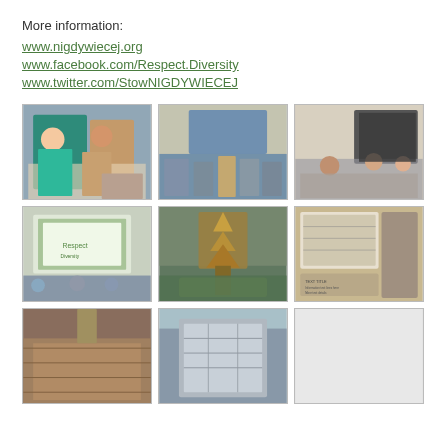More information:
www.nigdywiecej.org
www.facebook.com/Respect.Diversity
www.twitter.com/StowNIGDYWIECEJ
[Figure (photo): Two people smiling in front of photo exhibition wall]
[Figure (photo): Meeting room with people seated around table and projection screen]
[Figure (photo): Panel discussion with people seated at tables]
[Figure (photo): Presentation room with projector screen showing website, audience seated]
[Figure (photo): Outdoor shot of temple tower with trees]
[Figure (photo): Outdoor information board with text and illustration]
[Figure (photo): Close-up of stone wall or carved surface]
[Figure (photo): Building interior or exterior architectural detail]
[Figure (photo): Empty or partially visible photo cell]